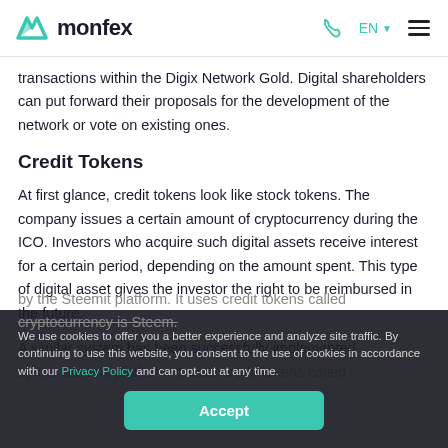monfex
transactions within the Digix Network Gold. Digital shareholders can put forward their proposals for the development of the network or vote on existing ones.
Credit Tokens
At first glance, credit tokens look like stock tokens. The company issues a certain amount of cryptocurrency during the ICO. Investors who acquire such digital assets receive interest for a certain period, depending on the amount spent. This type of digital asset gives the investor the right to be reimbursed in the future.
A similar system has been successfully implemented by the Steemit platform. It uses credit tokens called ... cryptocurrency is Steem.
How to Buy and Sell ICO Tokens
We use cookies to offer you a better experience and analyze site traffic. By continuing to use this website, you consent to the use of cookies in accordance with our Privacy Policy and can opt-out at any time.